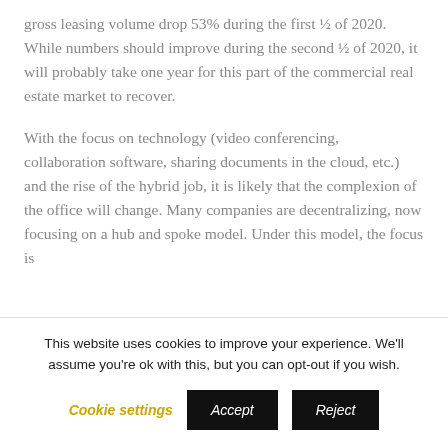gross leasing volume drop 53% during the first ½ of 2020. While numbers should improve during the second ½ of 2020, it will probably take one year for this part of the commercial real estate market to recover.
With the focus on technology (video conferencing, collaboration software, sharing documents in the cloud, etc.) and the rise of the hybrid job, it is likely that the complexion of the office will change. Many companies are decentralizing, now focusing on a hub and spoke model. Under this model, the focus is
This website uses cookies to improve your experience. We'll assume you're ok with this, but you can opt-out if you wish.